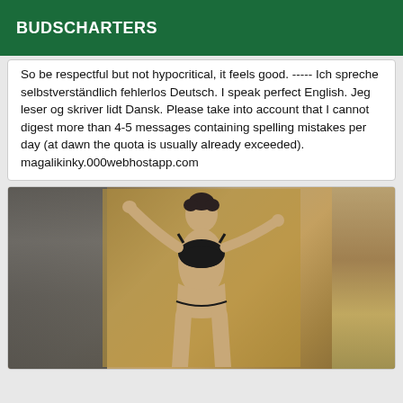BUDSCHARTERS
So be respectful but not hypocritical, it feels good. ----- Ich spreche selbstverständlich fehlerlos Deutsch. I speak perfect English. Jeg leser og skriver lidt Dansk. Please take into account that I cannot digest more than 4-5 messages containing spelling mistakes per day (at dawn the quota is usually already exceeded). magalikinky.000webhostapp.com
[Figure (photo): A woman in a black bikini top posing against a stone wall with arms raised]